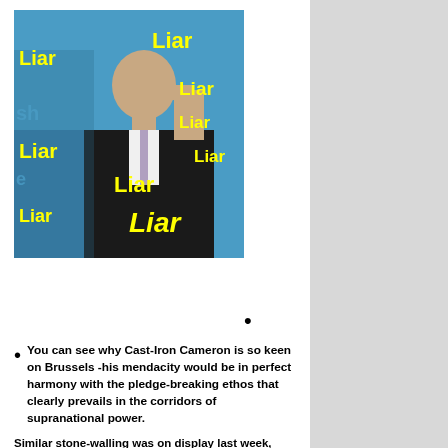[Figure (illustration): Photo of a politician (David Cameron) with the word 'Liar' repeated multiple times in yellow text overlaid at various positions and sizes across the image]
You can see why Cast-Iron Cameron is so keen on Brussels -his mendacity would be in perfect harmony with the pledge-breaking ethos that clearly prevails in the corridors of supranational power.
Similar stone-walling was on display last week, when there was a debate at what the MEPs fondly imagine is a ‘Parliament.’
“I have noted the plea to the commission to come forward with our communication”, said Michael Flueh, of the commission’s directorate-general for health and food safety.